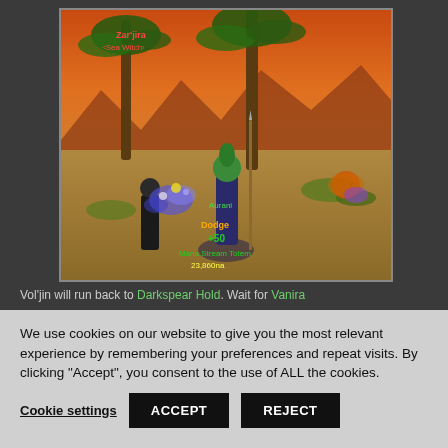[Figure (screenshot): World of Warcraft MMORPG screenshot showing combat scene on a beach at sunset with troll characters. Green text shows '+50', 'Mana Stream Totem', yellow text shows character names. Red text at top reads 'Zar'jira' and 'Sea Witch'.]
Vol'jin will run back to Darkspear Hold. Wait for Vanira
We use cookies on our website to give you the most relevant experience by remembering your preferences and repeat visits. By clicking “Accept”, you consent to the use of ALL the cookies.
Cookie settings   ACCEPT   REJECT